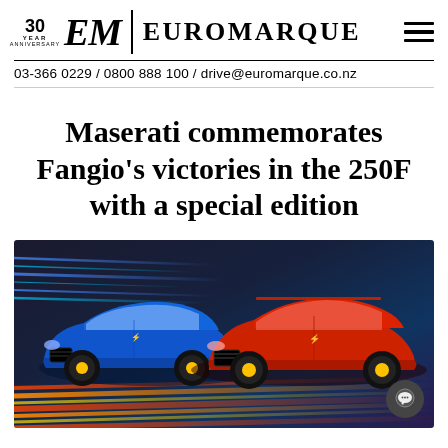EM | EUROMARQUE — 30 Year Anniversary
03-366 0229 / 0800 888 100 / drive@euromarque.co.nz
Maserati commemorates Fangio's victories in the 250F with a special edition
[Figure (photo): Two Maserati cars side by side against a dynamic speed-line background: a blue Maserati Ghibli on the left and a red Maserati Levante on the right. Both have yellow brake calipers. A chat bubble icon is overlaid in the bottom-right corner.]